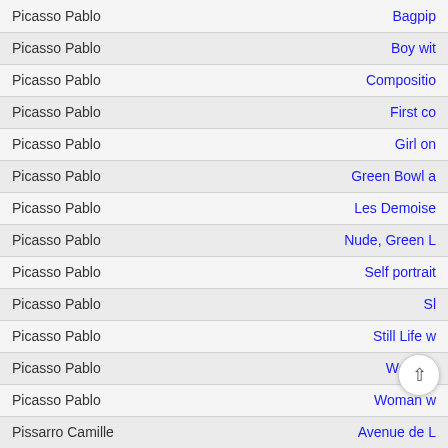| Artist | Title |
| --- | --- |
| Picasso Pablo | Bagpip… |
| Picasso Pablo | Boy wit… |
| Picasso Pablo | Compositio… |
| Picasso Pablo | First co… |
| Picasso Pablo | Girl on… |
| Picasso Pablo | Green Bowl a… |
| Picasso Pablo | Les Demoise… |
| Picasso Pablo | Nude, Green L… |
| Picasso Pablo | Self portrait… |
| Picasso Pablo | Sl… |
| Picasso Pablo | Still Life w… |
| Picasso Pablo | Wo…n w… |
| Picasso Pablo | Woman w… |
| Pissarro Camille | Avenue de L… |